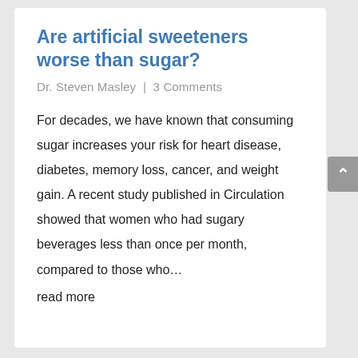Are artificial sweeteners worse than sugar?
Dr. Steven Masley | 3 Comments
For decades, we have known that consuming sugar increases your risk for heart disease, diabetes, memory loss, cancer, and weight gain. A recent study published in Circulation showed that women who had sugary beverages less than once per month, compared to those who…
read more